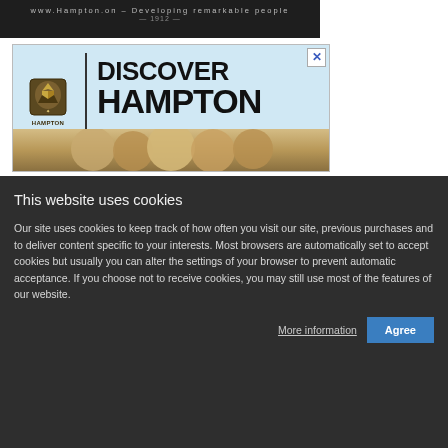[Figure (screenshot): Top banner area showing partial website header with text 'Developing remarkable people' and year 1912, dark background]
[Figure (screenshot): Hampton School advertisement banner: logo with crest and text HAMPTON SCHOOL, text DISCOVER HAMPTON in large bold font, photo of students at bottom]
This website uses cookies
Our site uses cookies to keep track of how often you visit our site, previous purchases and to deliver content specific to your interests. Most browsers are automatically set to accept cookies but usually you can alter the settings of your browser to prevent automatic acceptance. If you choose not to receive cookies, you may still use most of the features of our website.
More information
Agree